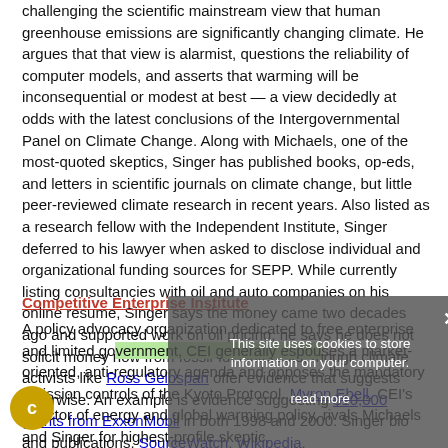challenging the scientific mainstream view that human greenhouse emissions are significantly changing climate. He argues that that view is alarmist, questions the reliability of computer models, and asserts that warming will be inconsequential or modest at best — a view decidedly at odds with the latest conclusions of the Intergovernmental Panel on Climate Change. Along with Michaels, one of the most-quoted skeptics, Singer has published books, op-eds, and letters in scientific journals on climate change, but little peer-reviewed climate research in recent years. Also listed as a research fellow with the Independent Institute, Singer deferred to his lawyer when asked to disclose individual and organizational funding sources for SEPP. While currently listing consultancies with oil and auto companies on his online resume, Singer says the money came two decades ago and supported work on oil pricing; he says he does not solicit money now from fossil-fuel interests, though climate activists like Ross Gelbspan offer evidence that suggests otherwise. An example is evidence suggesting $10,000 grants from ExxonMobil in both 1998 and 2000. Singer bio and publications. SourceWatch. Wikipedia. Greenpeace/ExxonSecrets.
Competitive Enterprise Institute
A policy advocacy organization dedicated to free enterprise and limited government, CEI generally espouses a market-oriented, anti-regulatory agenda and opposes the mandatory emission controls of the Kyoto Protocol. Myron Ebell, CEI's director of energy and global warming policy, rivals Michaels and Singer for highest-profile skeptic,